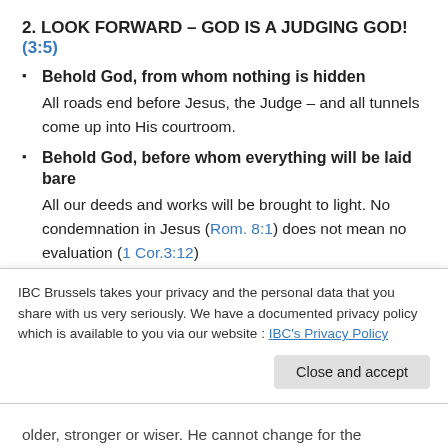2. LOOK FORWARD – GOD IS A JUDGING GOD! (3:5)
Behold God, from whom nothing is hidden
All roads end before Jesus, the Judge – and all tunnels come up into His courtroom.
Behold God, before whom everything will be laid bare
All our deeds and works will be brought to light. No condemnation in Jesus (Rom. 8:1) does not mean no evaluation (1 Cor.3:12)
3. LOOK UP – GOD IS AN UNCHANGING GOD! (v.6 – 9)
IBC Brussels takes your privacy and the personal data that you share with us very seriously. We have a documented privacy policy which is available to you via our website : IBC's Privacy Policy
Close and accept
older, stronger or wiser. He cannot change for the